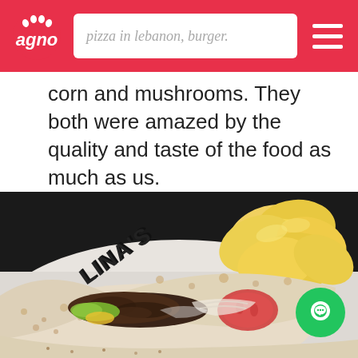pizza in lebanon, burger.
corn and mushrooms. They both were amazed by the quality and taste of the food as much as us.
[Figure (photo): A wrap/sandwich cut open revealing meat, lettuce, tomato, and sauce filling, served on a white plate branded 'LINA'S' with potato chips on the side.]